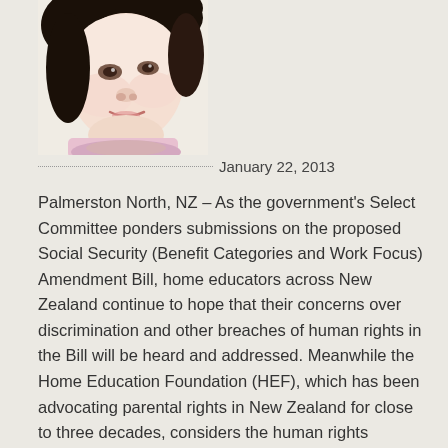[Figure (photo): Close-up photo of a baby or young toddler's face, with dark hair, looking slightly to the side. Image appears high-contrast with light background.]
January 22, 2013
Palmerston North, NZ – As the government's Select Committee ponders submissions on the proposed Social Security (Benefit Categories and Work Focus) Amendment Bill, home educators across New Zealand continue to hope that their concerns over discrimination and other breaches of human rights in the Bill will be heard and addressed. Meanwhile the Home Education Foundation (HEF), which has been advocating parental rights in New Zealand for close to three decades, considers the human rights problems in the Bill serious enough to lay before the Human